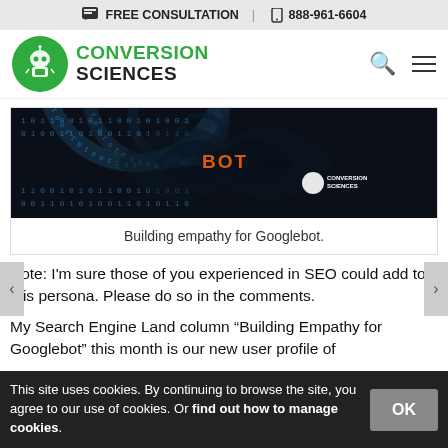FREE CONSULTATION | 888-961-6604
[Figure (logo): Conversion Sciences logo with green circle icon and text CONVERSION SCIENCES]
[Figure (photo): Dark image showing binary code with the word BOT highlighted in orange/red in the center, with Conversion Sciences logo watermark]
Building empathy for Googlebot.
Note: I'm sure those of you experienced in SEO could add to this persona. Please do so in the comments.
My Search Engine Land column “Building Empathy for Googlebot” this month is our new user profile of
This site uses cookies. By continuing to browse the site, you agree to our use of cookies. Or find out how to manage cookies.